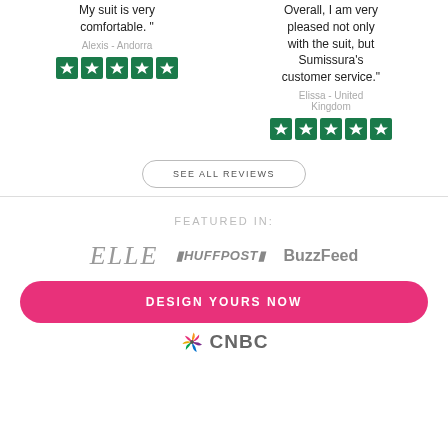My suit is very comfortable."
Alexis - Andorra
[Figure (other): Five green star rating boxes for Alexis - Andorra review]
Overall, I am very pleased not only with the suit, but Sumissura's customer service."
Elissa - United Kingdom
[Figure (other): Five green star rating boxes for Elissa - United Kingdom review]
SEE ALL REVIEWS
FEATURED IN:
[Figure (logo): ELLE logo]
[Figure (logo): HuffPost logo]
[Figure (logo): BuzzFeed logo]
DESIGN YOURS NOW
[Figure (logo): CNBC logo with peacock icon]